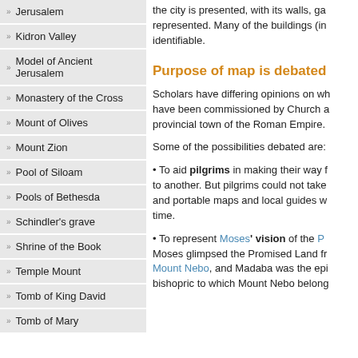Jerusalem
Kidron Valley
Model of Ancient Jerusalem
Monastery of the Cross
Mount of Olives
Mount Zion
Pool of Siloam
Pools of Bethesda
Schindler's grave
Shrine of the Book
Temple Mount
Tomb of King David
Tomb of Mary
the city is presented, with its walls, ga represented. Many of the buildings (in identifiable.
Purpose of map is debated
Scholars have differing opinions on wh have been commissioned by Church a provincial town of the Roman Empire.
Some of the possibilities debated are:
• To aid pilgrims in making their way f to another. But pilgrims could not take and portable maps and local guides w time.
• To represent Moses' vision of the P Moses glimpsed the Promised Land fr Mount Nebo, and Madaba was the epi bishopric to which Mount Nebo belong